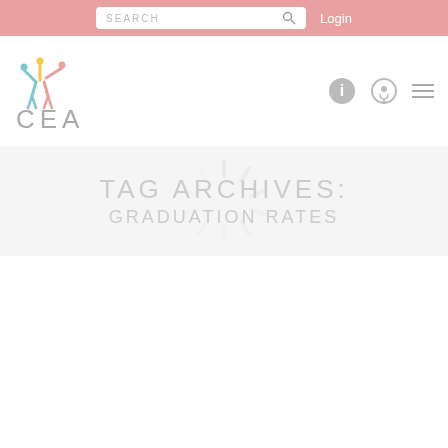SEARCH  Login
[Figure (logo): CEA logo with colorful figure and letters CEA in gray]
TAG ARCHIVES:
GRADUATION RATES